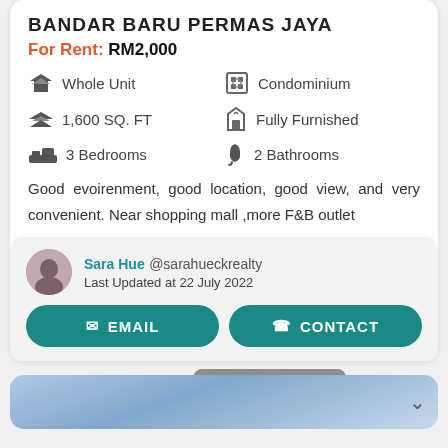BANDAR BARU PERMAS JAYA
For Rent: RM2,000
Whole Unit
Condominium
1,600 SQ. FT
Fully Furnished
3 Bedrooms
2 Bathrooms
Good evoirenment, good location, good view, and very convenient. Near shopping mall ,more F&B outlet
Sara Hue @sarahueckrealty
Last Updated at 22 July 2022
EMAIL
CONTACT
Scroll To Top